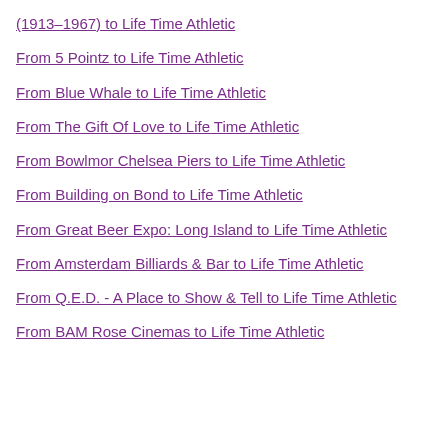(1913–1967) to Life Time Athletic
From 5 Pointz to Life Time Athletic
From Blue Whale to Life Time Athletic
From The Gift Of Love to Life Time Athletic
From Bowlmor Chelsea Piers to Life Time Athletic
From Building on Bond to Life Time Athletic
From Great Beer Expo: Long Island to Life Time Athletic
From Amsterdam Billiards & Bar to Life Time Athletic
From Q.E.D. - A Place to Show & Tell to Life Time Athletic
From BAM Rose Cinemas to Life Time Athletic